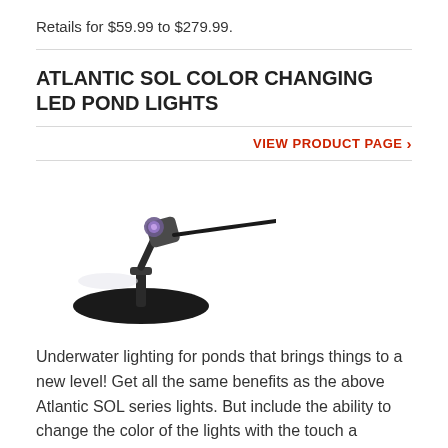Retails for $59.99 to $279.99.
ATLANTIC SOL COLOR CHANGING LED POND LIGHTS
VIEW PRODUCT PAGE >
[Figure (photo): A small LED pond spotlight on a round black base mount, with a cable extending to the right. The light head appears to emit a purple/violet color.]
Underwater lighting for ponds that brings things to a new level!  Get all the same benefits as the above Atlantic SOL series lights.  But include the ability to change the color of the lights with the touch a remote.  Choose from over 48